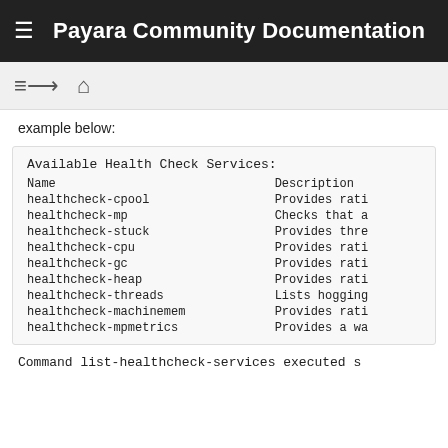Payara Community Documentation
example below:
| Name | Description |
| --- | --- |
| healthcheck-cpool | Provides rati… |
| healthcheck-mp | Checks that a… |
| healthcheck-stuck | Provides thre… |
| healthcheck-cpu | Provides rati… |
| healthcheck-gc | Provides rati… |
| healthcheck-heap | Provides rati… |
| healthcheck-threads | Lists hogging… |
| healthcheck-machinemem | Provides rati… |
| healthcheck-mpmetrics | Provides a wa… |
Command list-healthcheck-services executed s…